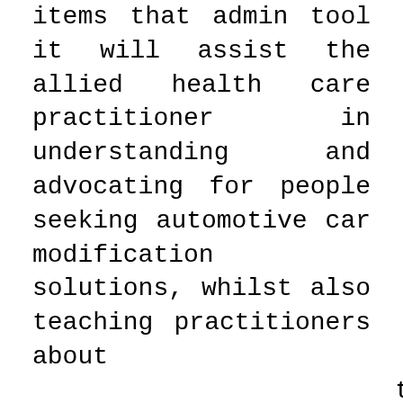items that admin tool it will assist the allied health care practitioner in understanding and advocating for people seeking automotive car modification solutions, whilst also teaching practitioners about the unique process involved in evaluating, selecting and buying proper automotive possibilities. Mentor is hosting a series of events aligned to the important automotive mega-trends in its new Mentor Automotive Lab in Novi, Michigan. This could happen simply because there is a sense for the place of